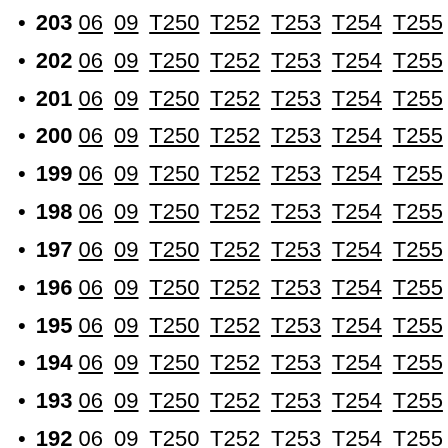203 06 09 T250 T252 T253 T254 T255
202 06 09 T250 T252 T253 T254 T255
201 06 09 T250 T252 T253 T254 T255
200 06 09 T250 T252 T253 T254 T255
199 06 09 T250 T252 T253 T254 T255
198 06 09 T250 T252 T253 T254 T255
197 06 09 T250 T252 T253 T254 T255
196 06 09 T250 T252 T253 T254 T255
195 06 09 T250 T252 T253 T254 T255
194 06 09 T250 T252 T253 T254 T255
193 06 09 T250 T252 T253 T254 T255
192 06 09 T250 T252 T253 T254 T255
191 06 09 T250 T252 T253 T254 T255
190 06 09 T250 T252 T253 T254 T255
189 06 09 T250 T252 T253 T254 T255
188 06 09 T250 T252 T253 T254 T255